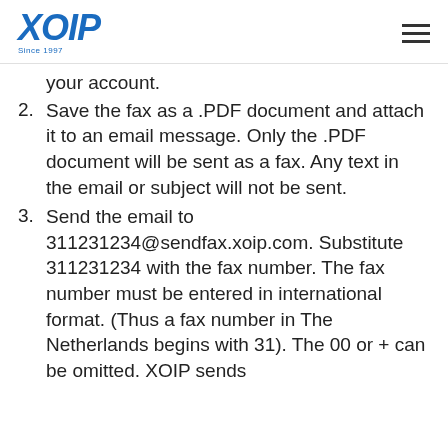XOIP Since 1997
your account.
Save the fax as a .PDF document and attach it to an email message. Only the .PDF document will be sent as a fax. Any text in the email or subject will not be sent.
Send the email to 311231234@sendfax.xoip.com. Substitute 311231234 with the fax number. The fax number must be entered in international format. (Thus a fax number in The Netherlands begins with 31). The 00 or + can be omitted. XOIP sends